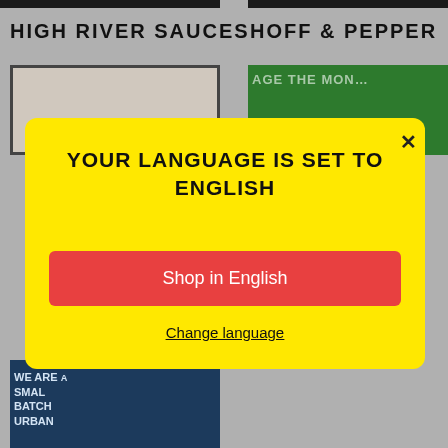HIGH RIVER SAUCES
HOFF & PEPPER
[Figure (photo): Product image for High River Sauces with red border frame]
[Figure (photo): Green product image with text 'AGE THE MON...' for Hoff & Pepper]
[Figure (screenshot): Modal dialog with yellow background. Title: YOUR LANGUAGE IS SET TO ENGLISH. Button: Shop in English. Link: Change language. Close X button.]
[Figure (photo): Dark blue product image with text WE ARE / SMALL / BATCH / URBAN / MADE THAT]
[Figure (logo): Karma logo with red circle and red cursive text 'Karma']